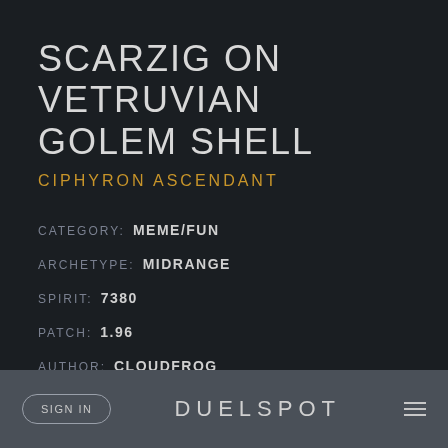SCARZIG ON VETRUVIAN GOLEM SHELL
CIPHYRON ASCENDANT
CATEGORY: MEME/FUN
ARCHETYPE: MIDRANGE
SPIRIT: 7380
PATCH: 1.96
AUTHOR: CLOUDFROG
SUBMITTED: 2019.06.14
SIGN IN   DUELSPOT   |||